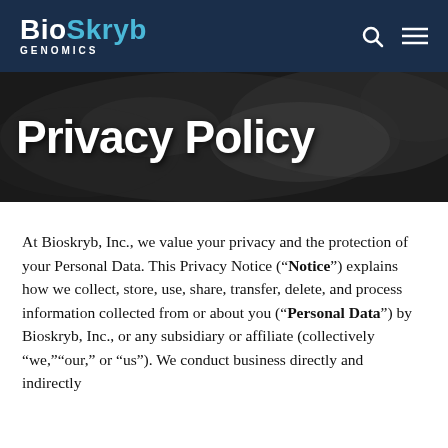BioSkryb GENOMICS
[Figure (illustration): Hero banner with dark background texture showing partial text 'Privacy Policy' in large white bold font]
At Bioskryb, Inc., we value your privacy and the protection of your Personal Data. This Privacy Notice (“Notice”) explains how we collect, store, use, share, transfer, delete, and process information collected from or about you (“Personal Data”) by Bioskryb, Inc., or any subsidiary or affiliate (collectively “we,”“our,” or “us”). We conduct business directly and indirectly